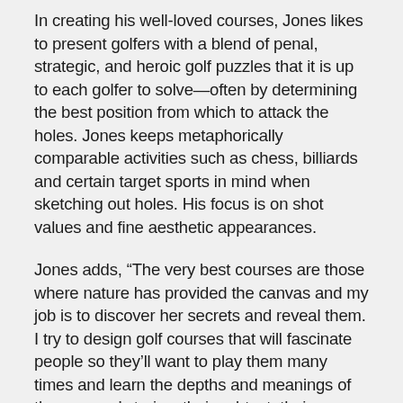In creating his well-loved courses, Jones likes to present golfers with a blend of penal, strategic, and heroic golf puzzles that it is up to each golfer to solve—often by determining the best position from which to attack the holes. Jones keeps metaphorically comparable activities such as chess, billiards and certain target sports in mind when sketching out holes. His focus is on shot values and fine aesthetic appearances.
Jones adds, “The very best courses are those where nature has provided the canvas and my job is to discover her secrets and reveal them. I try to design golf courses that will fascinate people so they’ll want to play them many times and learn the depths and meanings of the courses’ stories, their subtext, their poetry.”